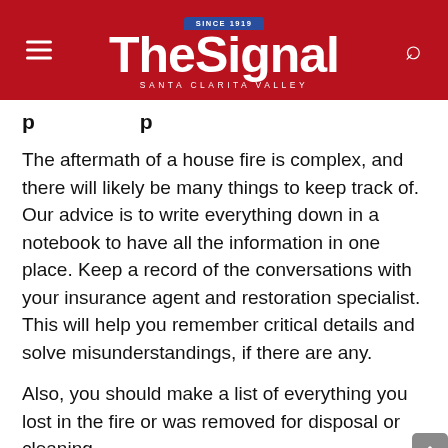The Signal — Santa Clarita Valley
[partial heading — cut off at top]
The aftermath of a house fire is complex, and there will likely be many things to keep track of. Our advice is to write everything down in a notebook to have all the information in one place. Keep a record of the conversations with your insurance agent and restoration specialist. This will help you remember critical details and solve misunderstandings, if there are any.
Also, you should make a list of everything you lost in the fire or was removed for disposal or cleaning.